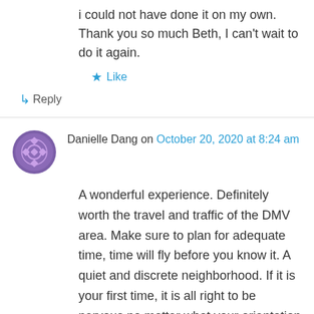i could not have done it on my own. Thank you so much Beth, I can't wait to do it again.
★ Like
↳ Reply
Danielle Dang on October 20, 2020 at 8:24 am
A wonderful experience. Definitely worth the travel and traffic of the DMV area. Make sure to plan for adequate time, time will fly before you know it. A quiet and discrete neighborhood. If it is your first time, it is all right to be nervous no matter what your orientation or what you identify as. Ms. Taylor is open-minded, patient, and understanding. She is very talented and will help you achieve the look you desire and customize